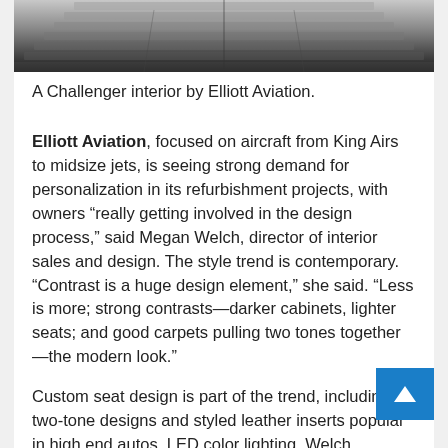[Figure (photo): A top-down or angled view of aircraft interior seats/components — a Challenger interior by Elliott Aviation, showing rows of seats or overhead panels in dark tones.]
A Challenger interior by Elliott Aviation.
Elliott Aviation, focused on aircraft from King Airs to midsize jets, is seeing strong demand for personalization in its refurbishment projects, with owners “really getting involved in the design process,” said Megan Welch, director of interior sales and design. The style trend is contemporary. “Contrast is a huge design element,” she said. “Less is more; strong contrasts—darker cabinets, lighter seats; and good carpets pulling two tones together—the modern look.”
Custom seat design is part of the trend, including two-tone designs and styled leather inserts popular in high end autos. LED color lighting, Welch